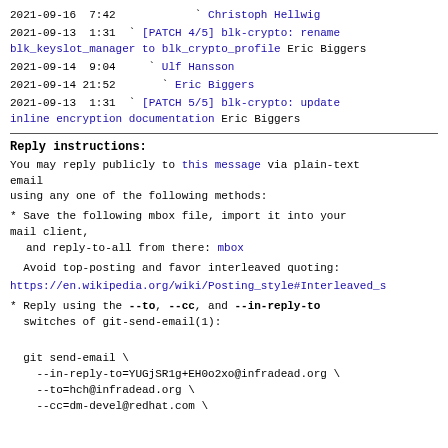2021-09-16  7:42            ` Christoph Hellwig
2021-09-13  1:31  ` [PATCH 4/5] blk-crypto: rename blk_keyslot_manager to blk_crypto_profile Eric Biggers
2021-09-14  9:04     ` Ulf Hansson
2021-09-14 21:52       ` Eric Biggers
2021-09-13  1:31  ` [PATCH 5/5] blk-crypto: update inline encryption documentation Eric Biggers
Reply instructions:
You may reply publicly to this message via plain-text email
using any one of the following methods:
* Save the following mbox file, import it into your mail client,
   and reply-to-all from there: mbox
Avoid top-posting and favor interleaved quoting:
https://en.wikipedia.org/wiki/Posting_style#Interleaved_s
* Reply using the --to, --cc, and --in-reply-to switches of git-send-email(1):
git send-email \
    --in-reply-to=YUGjSR1g+EH0o2xo@infradead.org \
    --to=hch@infradead.org \
    --cc=dm-devel@redhat.com \